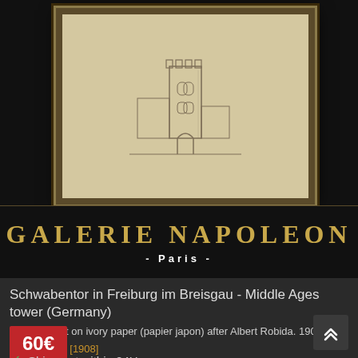[Figure (photo): Galerie Napoleon Paris product listing image. A framed antique print showing a pencil sketch of a medieval tower (Schwabentor) set in an ornate dark frame with checkered border detail, displayed against a black background. Below the frame, gold text reads 'GALERIE NAPOLEON' and white text reads '- PARIS -'.]
Schwabentor in Freiburg im Breisgau - Middle Ages tower (Germany)
Original print on ivory paper (papier japon) after Albert Robida. 1908
20TH CENTURY [1908]
60€
Shipment within 24H